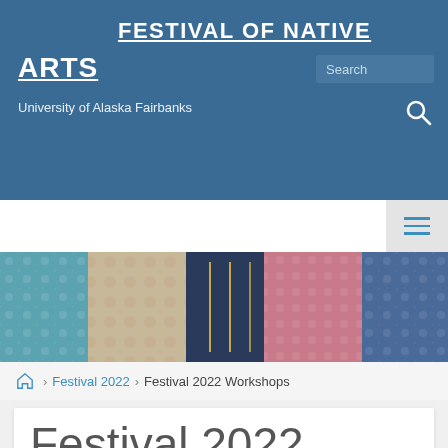FESTIVAL OF NATIVE ARTS — University of Alaska Fairbanks
[Figure (photo): Group of people wearing colorful patterned traditional Native garments/kuspuks, partial torso view]
🏠 > Festival 2022 > Festival 2022 Workshops
Festival 2022 Workshops